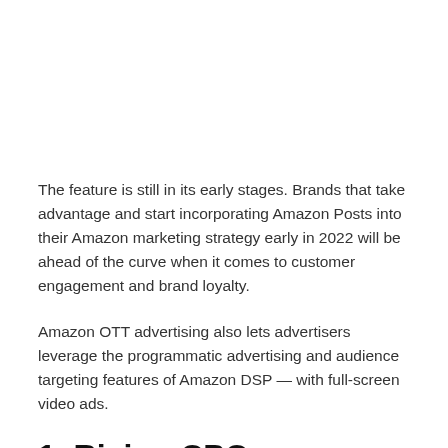The feature is still in its early stages. Brands that take advantage and start incorporating Amazon Posts into their Amazon marketing strategy early in 2022 will be ahead of the curve when it comes to customer engagement and brand loyalty.
Amazon OTT advertising also lets advertisers leverage the programmatic advertising and audience targeting features of Amazon DSP — with full-screen video ads.
1. Rising CPCs